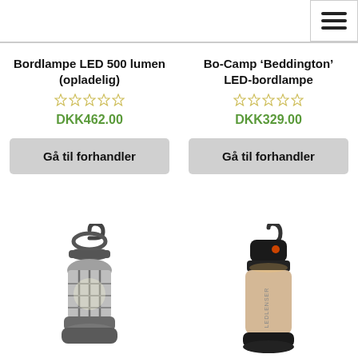Navigation menu icon
Bordlampe LED 500 lumen (opladelig)
DKK462.00
Gå til forhandler
Bo-Camp ‘Beddington’ LED-bordlampe
DKK329.00
Gå til forhandler
[Figure (photo): Dark grey hanging camping lantern with hook and cylindrical cage design]
[Figure (photo): Black and beige Ledlenser camping lantern with carabiner-style clip on top]